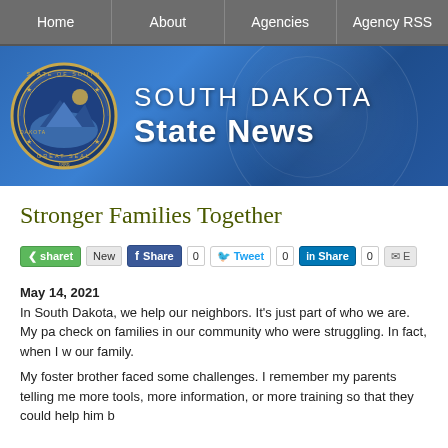Home | About | Agencies | Agency RSS
[Figure (logo): South Dakota State News banner with state seal and blue gradient background]
Stronger Families Together
[Figure (infographic): Social share buttons: sharet New, Facebook Share 0, Tweet 0, LinkedIn Share 0, Email]
May 14, 2021
In South Dakota, we help our neighbors. It's just part of who we are. My pa check on families in our community who were struggling. In fact, when I w our family.

My foster brother faced some challenges. I remember my parents telling me more tools, more information, or more training so that they could help him b